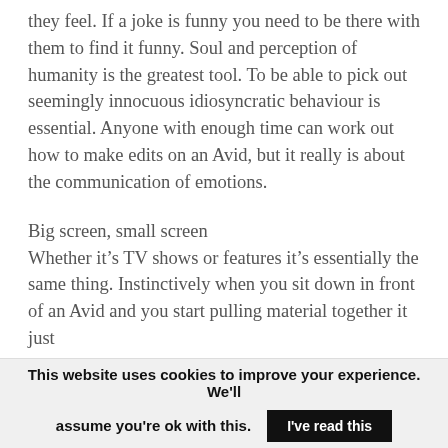they feel. If a joke is funny you need to be there with them to find it funny. Soul and perception of humanity is the greatest tool. To be able to pick out seemingly innocuous idiosyncratic behaviour is essential. Anyone with enough time can work out how to make edits on an Avid, but it really is about the communication of emotions.
Big screen, small screen
Whether it's TV shows or features it's essentially the same thing. Instinctively when you sit down in front of an Avid and you start pulling material together it just
This website uses cookies to improve your experience. We'll assume you're ok with this. I've read this